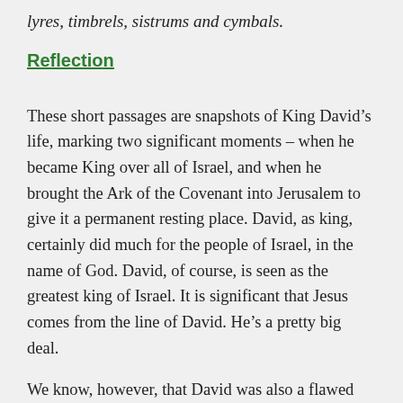lyres, timbrels, sistrums and cymbals.
Reflection
These short passages are snapshots of King David’s life, marking two significant moments – when he became King over all of Israel, and when he brought the Ark of the Covenant into Jerusalem to give it a permanent resting place. David, as king, certainly did much for the people of Israel, in the name of God. David, of course, is seen as the greatest king of Israel. It is significant that Jesus comes from the line of David. He’s a pretty big deal.
We know, however, that David was also a flawed human being who at times, made absolutely terrible